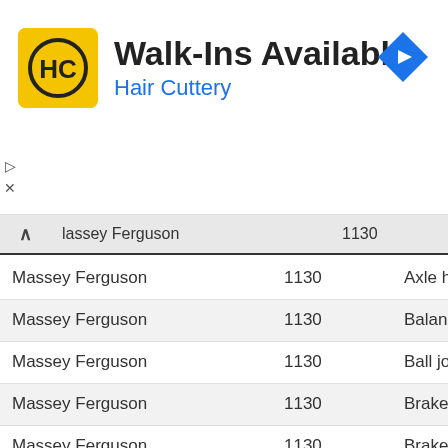[Figure (screenshot): Hair Cuttery advertisement banner with logo, 'Walk-Ins Available' heading, blue subtitle 'Hair Cuttery', navigation arrow icon, and close/play controls]
| Make | Model | Part |
| --- | --- | --- |
| Massey Ferguson | 1130 | Antiroll-b… |
| Massey Ferguson | 1130 | Axle hou… |
| Massey Ferguson | 1130 | Balance… |
| Massey Ferguson | 1130 | Ball join… |
| Massey Ferguson | 1130 | Brake di… |
| Massey Ferguson | 1130 | Brake pi… |
| Massey Ferguson | 1130 | Cabin |
| Massey Ferguson | 1130 | Camsha… |
| Massey Ferguson | 1130 | Clutch |
| Massey Ferguson | 1130 | Connect… |
| Massey Ferguson | 1130 | Cranksh… |
| Massey Ferguson | 1130 | Cranksh… |